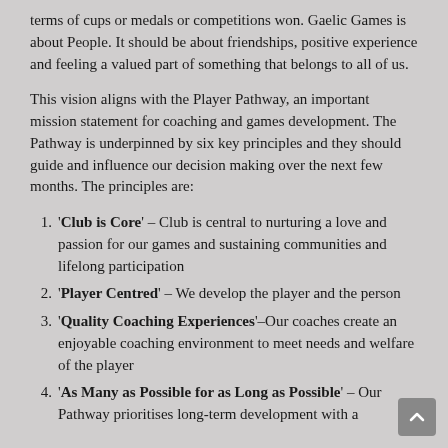terms of cups or medals or competitions won. Gaelic Games is about People. It should be about friendships, positive experience and feeling a valued part of something that belongs to all of us.
This vision aligns with the Player Pathway, an important mission statement for coaching and games development. The Pathway is underpinned by six key principles and they should guide and influence our decision making over the next few months. The principles are:
'Club is Core' – Club is central to nurturing a love and passion for our games and sustaining communities and lifelong participation
'Player Centred' – We develop the player and the person
'Quality Coaching Experiences'–Our coaches create an enjoyable coaching environment to meet needs and welfare of the player
'As Many as Possible for as Long as Possible' – Our Pathway prioritises long-term development with a